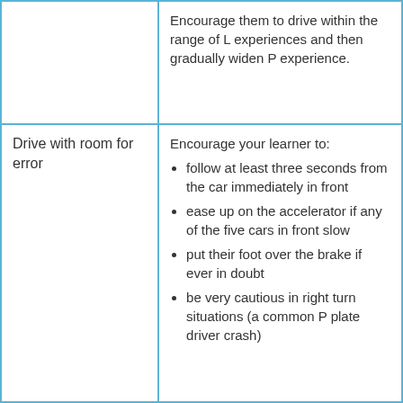|  | Encourage them to drive within the range of L experiences and then gradually widen P experience. |
| Drive with room for error | Encourage your learner to:
• follow at least three seconds from the car immediately in front
• ease up on the accelerator if any of the five cars in front slow
• put their foot over the brake if ever in doubt
• be very cautious in right turn situations (a common P plate driver crash) |